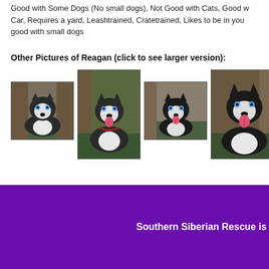Good with Some Dogs (No small dogs), Not Good with Cats, Good with Car, Requires a yard, Leashtrained, Cratetrained, Likes to be in your good with small dogs
Other Pictures of Reagan (click to see larger version):
[Figure (photo): Four photos of Reagan the Siberian Husky dog lying near a tree]
Southern Siberian Rescue is